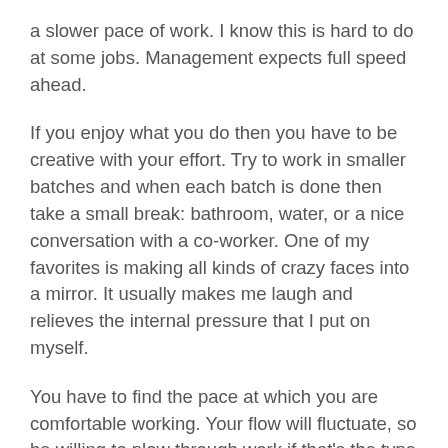a slower pace of work. I know this is hard to do at some jobs. Management expects full speed ahead.
If you enjoy what you do then you have to be creative with your effort. Try to work in smaller batches and when each batch is done then take a small break: bathroom, water, or a nice conversation with a co-worker. One of my favorites is making all kinds of crazy faces into a mirror. It usually makes me laugh and relieves the internal pressure that I put on myself.
You have to find the pace at which you are comfortable working. Your flow will fluctuate, so be willing to plow through work if that's the type of mood you are in. Just